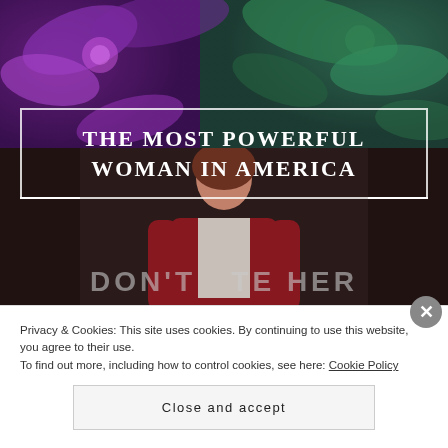[Figure (photo): Purple and green floral/leaf background at top of page]
[Figure (photo): Dark background with a woman in a red cardigan standing, partially visible]
THE MOST POWERFUL WOMAN IN AMERICA
DON'T HATE HER
As I was standing in line at the grocery store
Privacy & Cookies: This site uses cookies. By continuing to use this website, you agree to their use.
To find out more, including how to control cookies, see here: Cookie Policy
Close and accept